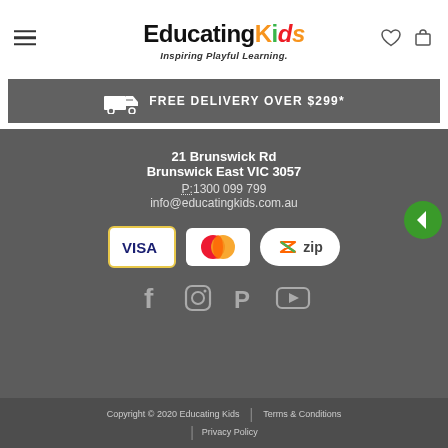[Figure (logo): Educating Kids logo with colorful Kids text and tagline Inspiring Playful Learning.]
FREE DELIVERY OVER $299*
21 Brunswick Rd
Brunswick East VIC 3057
P: 1300 099 799
info@educatingkids.com.au
[Figure (other): Payment icons: Visa, Mastercard, Zip]
[Figure (other): Social media icons: Facebook, Instagram, Pinterest, YouTube]
Copyright © 2020 Educating Kids | Terms & Conditions | Privacy Policy